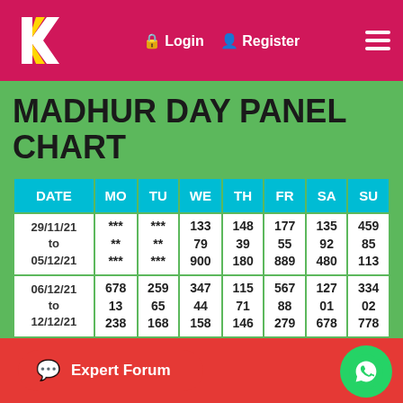[Figure (logo): KK logo with white and yellow chevron on crimson background, navigation bar with Login and Register links and hamburger menu]
MADHUR DAY PANEL CHART
| DATE | MO | TU | WE | TH | FR | SA | SU |
| --- | --- | --- | --- | --- | --- | --- | --- |
| 29/11/21
to
05/12/21 | ***
**
*** | ***
**
*** | 133
79
900 | 148
39
180 | 177
55
889 | 135
92
480 | 459
85
113 |
| 06/12/21
to
12/12/21 | 678
13
238 | 259
65
168 | 347
44
158 | 115
71
146 | 567
88
279 | 127
01
678 | 334
02
778 |
| 13/12/21
to
19/12/21 | ...
...
... | ...
...
... | ...
...
... | 133
71
128 | 139
31
100 | 147
29
450 | ... |
Expert Forum